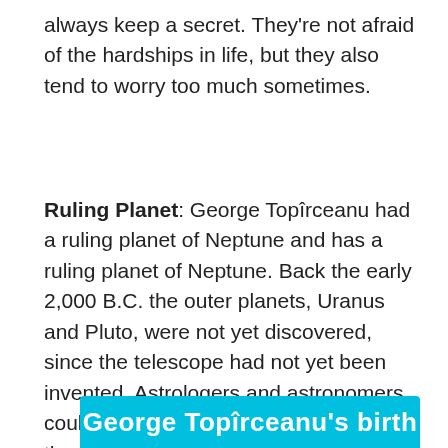always keep a secret. They're not afraid of the hardships in life, but they also tend to worry too much sometimes.
Ruling Planet: George Topîrceanu had a ruling planet of Neptune and has a ruling planet of Neptune. Back the early 2,000 B.C. the outer planets, Uranus and Pluto, were not yet discovered, since the telescope had not yet been invented. Astrologers and astronomers could only work with planets visible to the eye.
George Topîrceanu's birth